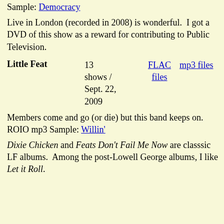Sample: Democracy
Live in London (recorded in 2008) is wonderful. I got a DVD of this show as a reward for contributing to Public Television.
| Band | Shows/Date | FLAC files | mp3 files |
| --- | --- | --- | --- |
| Little Feat | 13 shows / Sept. 22, 2009 | FLAC files | mp3 files |
Members come and go (or die) but this band keeps on. ROIO mp3 Sample: Willin'
Dixie Chicken and Feats Don't Fail Me Now are classsic LF albums. Among the post-Lowell George albums, I like Let it Roll.